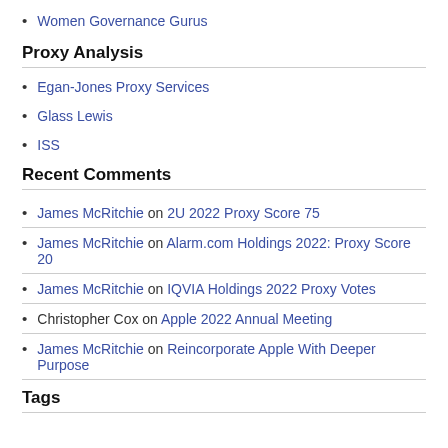Women Governance Gurus
Proxy Analysis
Egan-Jones Proxy Services
Glass Lewis
ISS
Recent Comments
James McRitchie on 2U 2022 Proxy Score 75
James McRitchie on Alarm.com Holdings 2022: Proxy Score 20
James McRitchie on IQVIA Holdings 2022 Proxy Votes
Christopher Cox on Apple 2022 Annual Meeting
James McRitchie on Reincorporate Apple With Deeper Purpose
Tags